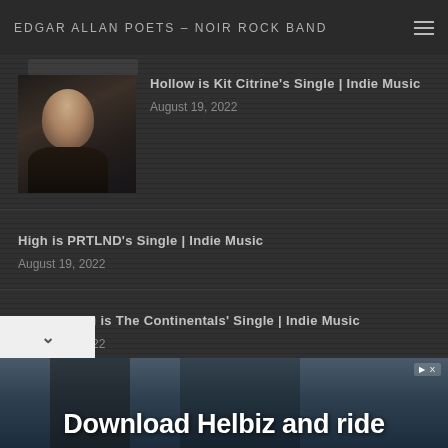EDGAR ALLAN POETS – NOIR ROCK BAND
Hollow is Kit Citrine's Single | Indie Music
August 19, 2022
High is PRTLND's Single | Indie Music
August 19, 2022
Without You is The Continentals' Single | Indie Music
August 19, 2022
[Figure (photo): Advertisement banner: Download Helbiz and ride — showing person with scooter/bike in urban setting]
Download Helbiz and ride